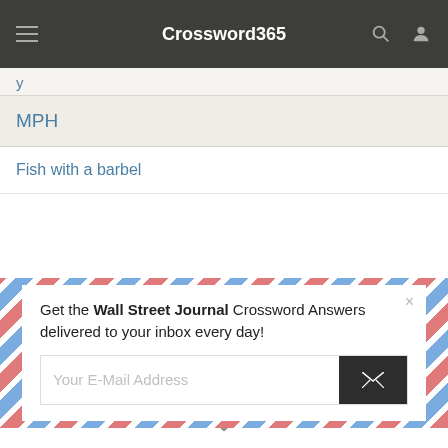Crossword365
y
MPH
Fish with a barbel
[Figure (screenshot): Email signup modal with airmail border pattern. Text: Get the Wall Street Journal Crossword Answers delivered to your inbox every day! Email input field with send button. Close (×) button in top right.]
This website uses cookies to ensure you get the best experience on our website